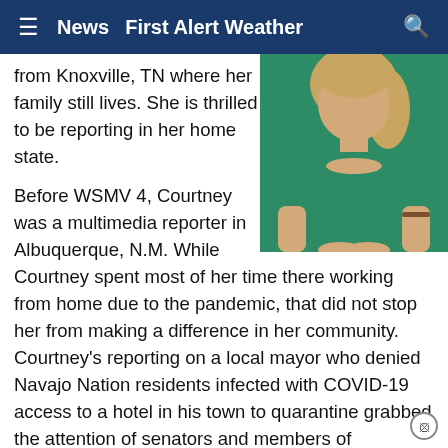≡  News  First Alert Weather  🔍
[Figure (photo): Woman with blonde hair wearing a green short-sleeve top, shown from shoulders down, hands clasped in front]
from Knoxville, TN where her family still lives. She is thrilled to be reporting in her home state.
Before WSMV 4, Courtney was a multimedia reporter in Albuquerque, N.M. While Courtney spent most of her time there working from home due to the pandemic, that did not stop her from making a difference in her community. Courtney's reporting on a local mayor who denied Navajo Nation residents infected with COVID-19 access to a hotel in his town to quarantine grabbed the attention of senators and members of Congress. The state also got involved and ordered the mayor to remove the barricades which allowed the Native Americans living in multigenerational households the